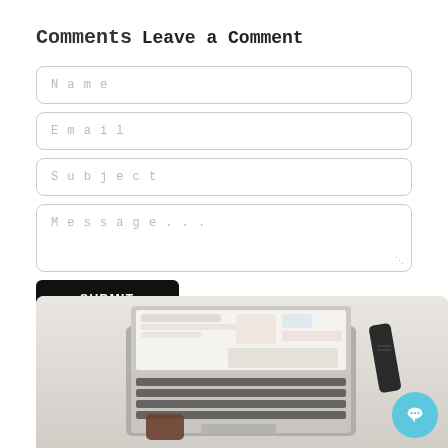Comments
Leave a Comment
[Figure (screenshot): A web comment form with Name, Email, Subject, and Message fields, a black SUBMIT button, and a laptop photo below]
[Figure (photo): Overhead view of a laptop on a desk with a phone and black device, light gray background]